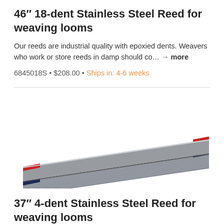46" 18-dent Stainless Steel Reed for weaving looms
Our reeds are industrial quality with epoxied dents. Weavers who work or store reeds in damp should co... → more
6845018S • $208.00 • Ships in: 4-6 weeks
[Figure (photo): Two stainless steel weaving reeds with red and navy blue edge bindings, stacked at an angle on a white background.]
37" 4-dent Stainless Steel Reed for weaving looms